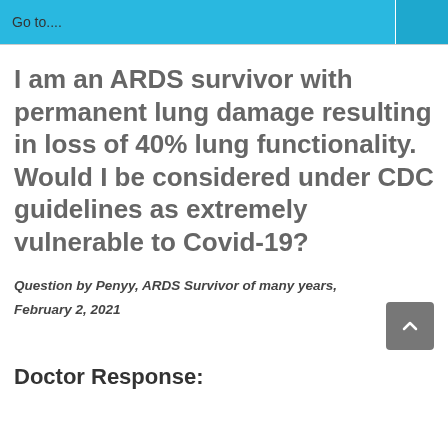Go to....
I am an ARDS survivor with permanent lung damage resulting in loss of 40% lung functionality. Would I be considered under CDC guidelines as extremely vulnerable to Covid-19?
Question by Penyy, ARDS Survivor of many years,
February 2, 2021
Doctor Response: